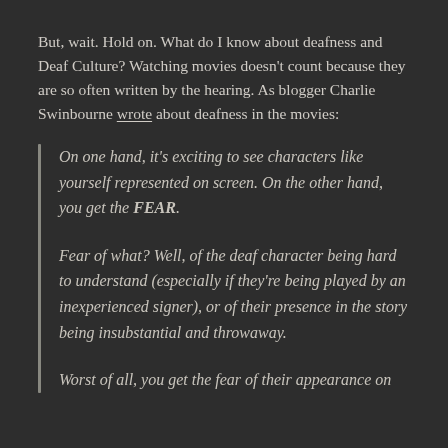But, wait. Hold on. What do I know about deafness and Deaf Culture? Watching movies doesn't count because they are so often written by the hearing. As blogger Charlie Swinbourne wrote about deafness in the movies:
On one hand, it's exciting to see characters like yourself represented on screen. On the other hand, you get the FEAR.
Fear of what? Well, of the deaf character being hard to understand (especially if they're being played by an inexperienced signer), or of their presence in the story being insubstantial and throwaway.
Worst of all, you get the fear of their appearance on